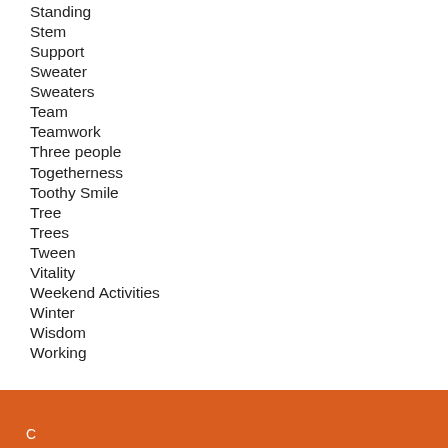Standing
Stem
Support
Sweater
Sweaters
Team
Teamwork
Three people
Togetherness
Toothy Smile
Tree
Trees
Tween
Vitality
Weekend Activities
Winter
Wisdom
Working
C